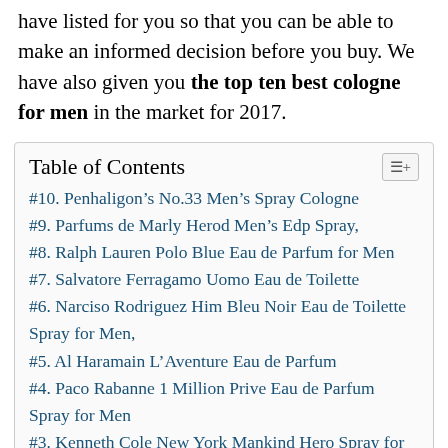have listed for you so that you can be able to make an informed decision before you buy. We have also given you the top ten best cologne for men in the market for 2017.
Table of Contents
#10. Penhaligon’s No.33 Men’s Spray Cologne
#9. Parfums de Marly Herod Men’s Edp Spray,
#8. Ralph Lauren Polo Blue Eau de Parfum for Men
#7. Salvatore Ferragamo Uomo Eau de Toilette
#6. Narciso Rodriguez Him Bleu Noir Eau de Toilette Spray for Men,
#5. Al Haramain L’Aventure Eau de Parfum
#4. Paco Rabanne 1 Million Prive Eau de Parfum Spray for Men
#3. Kenneth Cole New York Mankind Hero Spray for Men